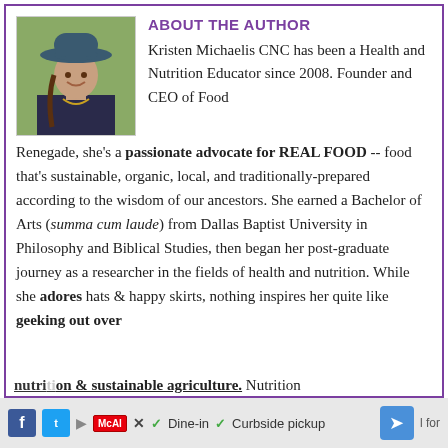ABOUT THE AUTHOR
[Figure (photo): Portrait photo of Kristen Michaelis wearing a wide-brim hat and braided hair, smiling outdoors]
Kristen Michaelis CNC has been a Health and Nutrition Educator since 2008. Founder and CEO of Food Renegade, she's a passionate advocate for REAL FOOD -- food that's sustainable, organic, local, and traditionally-prepared according to the wisdom of our ancestors. She earned a Bachelor of Arts (summa cum laude) from Dallas Baptist University in Philosophy and Biblical Studies, then began her post-graduate journey as a researcher in the fields of health and nutrition. While she adores hats & happy skirts, nothing inspires her quite like geeking out over nutrition & sustainable agriculture. Nutrition
f [Twitter] [McAl] ✓ Dine-in ✓ Curbside pickup [nav] l for